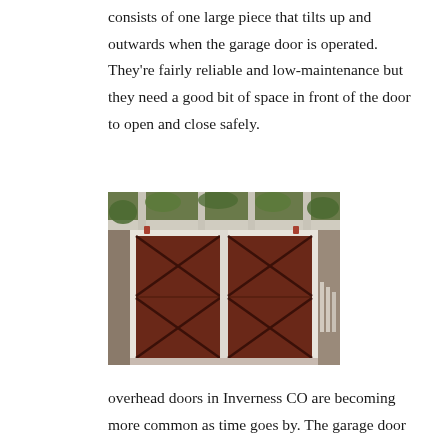consists of one large piece that tilts up and outwards when the garage door is operated. They're fairly reliable and low-maintenance but they need a good bit of space in front of the door to open and close safely.
[Figure (photo): Two large wooden garage doors with dark mahogany finish, set in a white frame under a pergola covered with green ivy/vines. The doors have X-brace diagonal woodwork pattern. The setting appears to be a residential home with white fencing visible on the right.]
overhead doors in Inverness CO are becoming more common as time goes by. The garage door